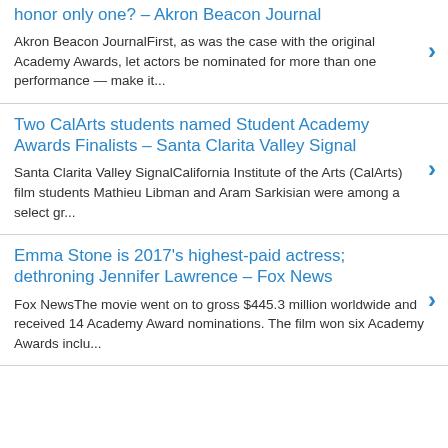honor only one? – Akron Beacon Journal
Akron Beacon JournalFirst, as was the case with the original Academy Awards, let actors be nominated for more than one performance — make it...
Two CalArts students named Student Academy Awards Finalists – Santa Clarita Valley Signal
Santa Clarita Valley SignalCalifornia Institute of the Arts (CalArts) film students Mathieu Libman and Aram Sarkisian were among a select gr...
Emma Stone is 2017's highest-paid actress; dethroning Jennifer Lawrence – Fox News
Fox NewsThe movie went on to gross $445.3 million worldwide and received 14 Academy Award nominations. The film won six Academy Awards inclu...